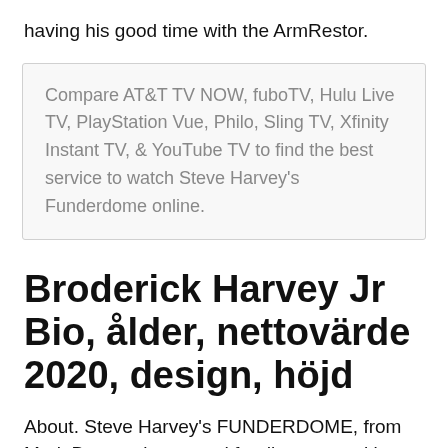having his good time with the ArmRestor.
Compare AT&T TV NOW, fuboTV, Hulu Live TV, PlayStation Vue, Philo, Sling TV, Xfinity Instant TV, & YouTube TV to find the best service to watch Steve Harvey's Funderdome online.
Broderick Harvey Jr Bio, ålder, nettovärde 2020, design, höjd
About. Steve Harvey's FUNDERDOME, from Mark Burnett, is a crowd funding competition reality show-